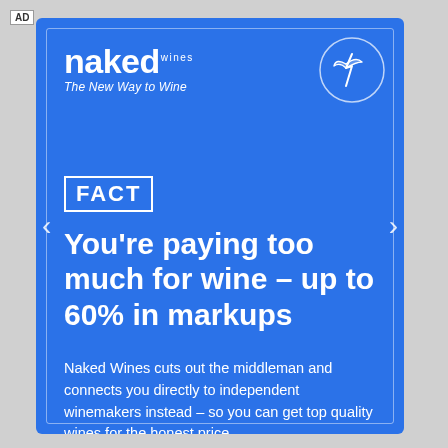AD
[Figure (logo): Naked Wines logo with stylized text 'naked' in large bold white font, 'wines' in small vertical text as superscript, tagline 'The New Way to Wine' in italic below, and a winged figure in a circle at top right]
FACT
You're paying too much for wine – up to 60% in markups
Naked Wines cuts out the middleman and connects you directly to independent winemakers instead – so you can get top quality wines for the honest price